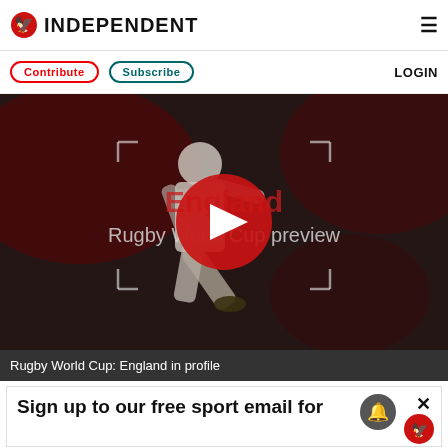INDEPENDENT
Contribute | Subscribe | LOGIN
[Figure (screenshot): Video thumbnail of a rugby player kicking, overlaid with play button and text: England Rugby World Cup preview]
Rugby World Cup: England in profile
Sign up to our free sport email for
[Figure (other): Advertisement: Save Today with BOGO Free Select Supplements and Vitamins - Walgreens]